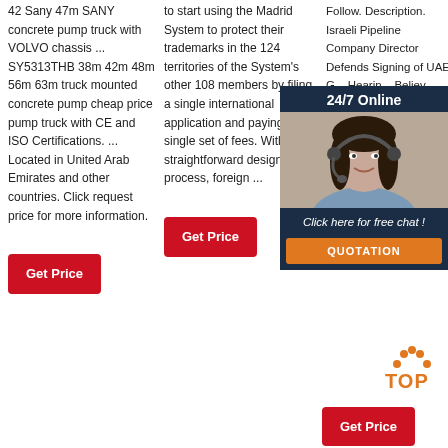42 Sany 47m SANY concrete pump truck with VOLVO chassis ... SY5313THB 38m 42m 48m 56m 63m truck mounted concrete pump cheap price pump truck with CE and ISO Certifications. ... Located in United Arab Emirates and other countries. Click request price for more information.
Get Price
to start using the Madrid System to protect their trademarks in the 124 territories of the System's other 108 members by filing a single international application and paying a single set of fees. With its straightforward designation process, foreign ...
Get Price
Follow. Description. Israeli Pipeline Company Director Defends Signing of UAE G... Hearing... Believ... Relatio... Meets... Bahrai... 'We Be... Relatio... Tells T... Bahrai... Ahead of UN Speech
[Figure (photo): 24/7 Online chat widget with photo of woman with headset, and orange QUOTATION button]
Get Price